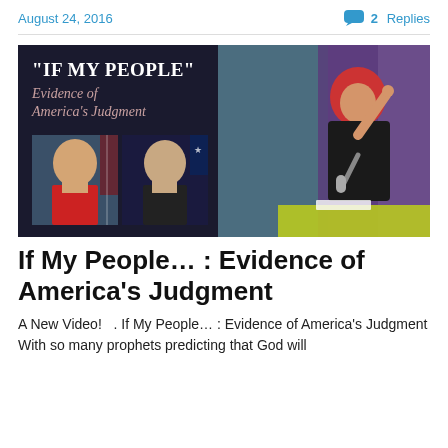August 24, 2016   2 Replies
[Figure (photo): Composite image: left side shows dark background with text 'IF MY PEOPLE' Evidence of America's Judgment with photos of Donald Trump and Hillary Clinton; right side shows a red-haired woman speaking at a microphone on a purple/teal stage.]
If My People… : Evidence of America's Judgment
A New Video!   . If My People… : Evidence of America's Judgment With so many prophets predicting that God will